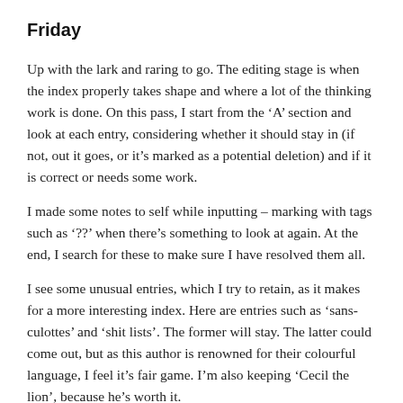Friday
Up with the lark and raring to go. The editing stage is when the index properly takes shape and where a lot of the thinking work is done. On this pass, I start from the ‘A’ section and look at each entry, considering whether it should stay in (if not, out it goes, or it’s marked as a potential deletion) and if it is correct or needs some work.
I made some notes to self while inputting – marking with tags such as ‘??’ when there’s something to look at again. At the end, I search for these to make sure I have resolved them all.
I see some unusual entries, which I try to retain, as it makes for a more interesting index. Here are entries such as ‘sans-culottes’ and ‘shit lists’. The former will stay. The latter could come out, but as this author is renowned for their colourful language, I feel it’s fair game. I’m also keeping ‘Cecil the lion’, because he’s worth it.